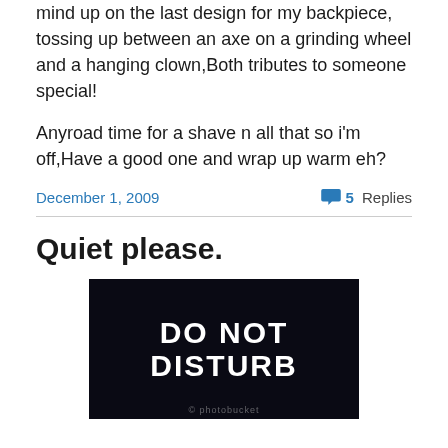mind up on the last design for my backpiece, tossing up between an axe on a grinding wheel and a hanging clown,Both tributes to someone special!
Anyroad time for a shave n all that so i'm off,Have a good one and wrap up warm eh?
December 1, 2009   5 Replies
Quiet please.
[Figure (photo): Dark background image with bold white text reading 'DO NOT DISTURB' and a watermark at the bottom]